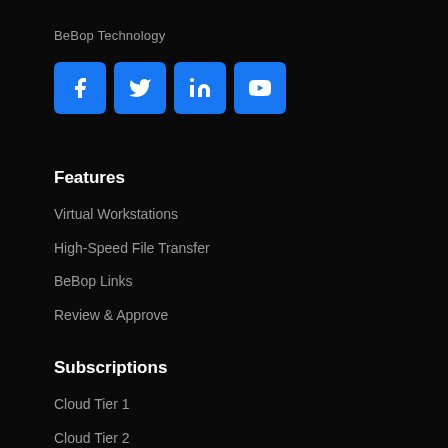BeBop Technology
[Figure (illustration): Four social media icon buttons (Facebook, Twitter, LinkedIn, YouTube) displayed as blue rounded squares with white icons]
Features
Virtual Workstations
High-Speed File Transfer
BeBop Links
Review & Approve
Subscriptions
Cloud Tier 1
Cloud Tier 2
Collaboration